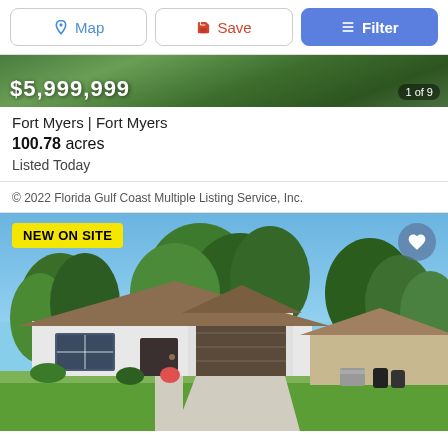Map | Save | Filter
[Figure (photo): Aerial view of land with green fields and roads, price overlay $5,999,999, counter 1 of 9]
Fort Myers | Fort Myers
100.78 acres
Listed Today
© 2022 Florida Gulf Coast Multiple Listing Service, Inc.
[Figure (photo): Exterior photo of a renovated single-family home with white walls, brown garage door, blue sky and trees in background. Badge: NEW ON SITE]